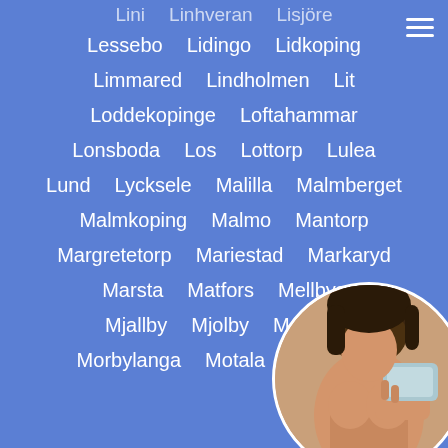Lessebo   Lidingo   Lidkoping
Limmared   Lindholmen   Lit
Loddekopinge   Loftahammar
Lonsboda   Los   Lottorp   Lulea
Lund   Lycksele   Malilla   Malmberget
Malmkoping   Malmo   Mantorp
Margretetorp   Mariestad   Markaryd
Marsta   Matfors   Mellbys...
Mjallby   Mjolby   Molkom
Morbylanga   Motala   Munka-Lj...
[Figure (photo): Circular cropped photo of a woman in the lower right corner, partially obscured]